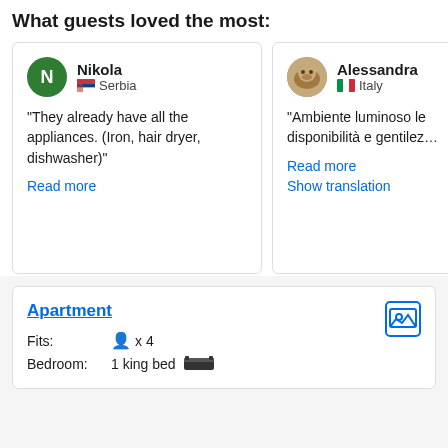What guests loved the most:
Nikola — Serbia
"They already have all the appliances. (Iron, hair dryer, dishwasher)"
Read more
Alessandra — Italy
"Ambiente luminoso le disponibilità e gentilez…"
Read more
Show translation
Apartment
Fits: x 4
Bedroom: 1 king bed